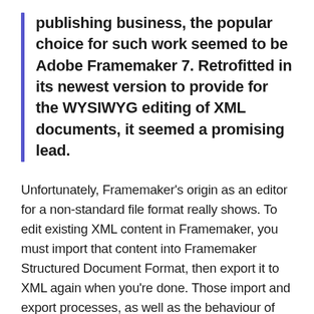publishing business, the popular choice for such work seemed to be Adobe Framemaker 7. Retrofitted in its newest version to provide for the WYSIWYG editing of XML documents, it seemed a promising lead.
Unfortunately, Framemaker's origin as an editor for a non-standard file format really shows. To edit existing XML content in Framemaker, you must import that content into Framemaker Structured Document Format, then export it to XML again when you're done. Those import and export processes, as well as the behaviour of the editor for a given document type, is dictated by an